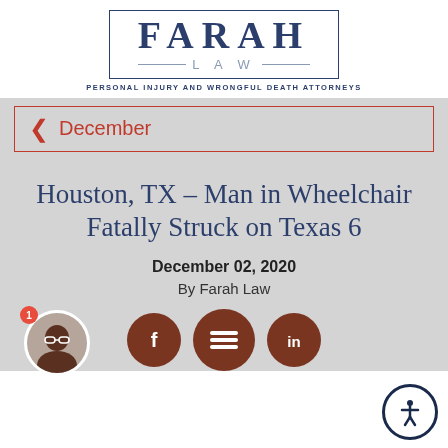[Figure (logo): Farah Law firm logo with text FARAH in large letters, LAW below with lines, and tagline PERSONAL INJURY AND WRONGFUL DEATH ATTORNEYS]
December
Houston, TX – Man in Wheelchair Fatally Struck on Texas 6
December 02, 2020
By Farah Law